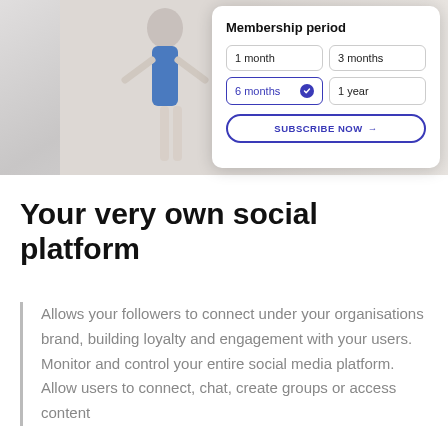[Figure (screenshot): Screenshot of a membership period selection UI with options: 1 month, 3 months, 6 months (selected with blue checkmark), 1 year, and a 'SUBSCRIBE NOW →' button. Background shows a person in a blue ballet leotard.]
Your very own social platform
Allows your followers to connect under your organisations brand, building loyalty and engagement with your users. Monitor and control your entire social media platform. Allow users to connect, chat, create groups or access content